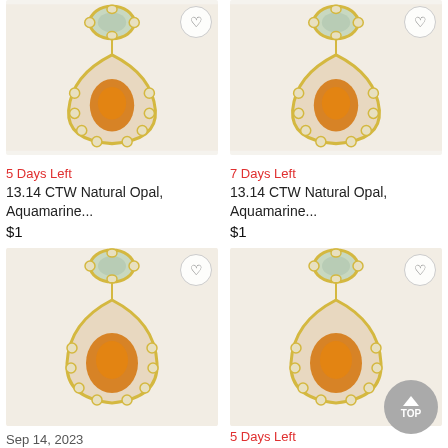[Figure (photo): Gold drop earring with aquamarine and opal gemstones, top-left listing]
5 Days Left
13.14 CTW Natural Opal, Aquamarine...
$1
[Figure (photo): Gold drop earring with aquamarine and opal gemstones, top-right listing]
7 Days Left
13.14 CTW Natural Opal, Aquamarine...
$1
[Figure (photo): Gold drop earring with aquamarine and opal gemstones, bottom-left listing]
Sep 14, 2023
[Figure (photo): Gold drop earring with aquamarine and opal gemstones, bottom-right listing]
5 Days Left